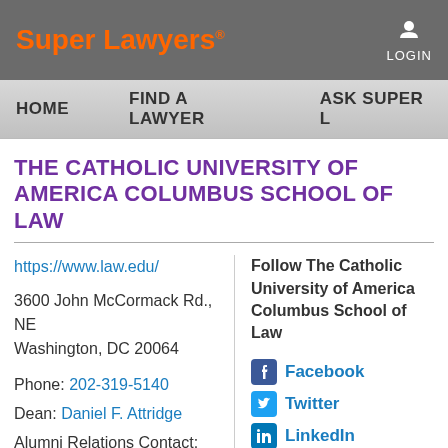[Figure (logo): Super Lawyers logo in orange text on dark gray background with LOGIN button top right]
HOME   FIND A LAWYER   ASK SUPER L
THE CATHOLIC UNIVERSITY OF AMERICA COLUMBUS SCHOOL OF LAW
https://www.law.edu/
3600 John McCormack Rd., NE
Washington, DC 20064
Phone: 202-319-5140
Dean: Daniel F. Attridge
Alumni Relations Contact:
Follow The Catholic University of America Columbus School of Law
Facebook
Twitter
LinkedIn